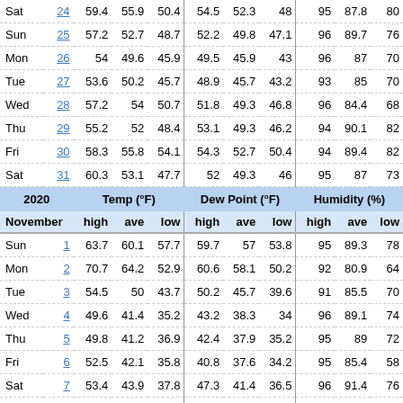|  |  | Temp (°F) high | Temp (°F) ave | Temp (°F) low | Dew Point (°F) high | Dew Point (°F) ave | Dew Point (°F) low | Humidity (%) high | Humidity (%) ave | Humidity (%) low |
| --- | --- | --- | --- | --- | --- | --- | --- | --- | --- | --- |
| Sat | 24 | 59.4 | 55.9 | 50.4 | 54.5 | 52.3 | 48 | 95 | 87.8 | 80 |
| Sun | 25 | 57.2 | 52.7 | 48.7 | 52.2 | 49.8 | 47.1 | 96 | 89.7 | 76 |
| Mon | 26 | 54 | 49.6 | 45.9 | 49.5 | 45.9 | 43 | 96 | 87 | 70 |
| Tue | 27 | 53.6 | 50.2 | 45.7 | 48.9 | 45.7 | 43.2 | 93 | 85 | 70 |
| Wed | 28 | 57.2 | 54 | 50.7 | 51.8 | 49.3 | 46.8 | 96 | 84.4 | 68 |
| Thu | 29 | 55.2 | 52 | 48.4 | 53.1 | 49.3 | 46.2 | 94 | 90.1 | 82 |
| Fri | 30 | 58.3 | 55.8 | 54.1 | 54.3 | 52.7 | 50.4 | 94 | 89.4 | 82 |
| Sat | 31 | 60.3 | 53.1 | 47.7 | 52 | 49.3 | 46 | 95 | 87 | 73 |
| November |  | high | ave | low | high | ave | low | high | ave | low |
| Sun | 1 | 63.7 | 60.1 | 57.7 | 59.7 | 57 | 53.8 | 95 | 89.3 | 78 |
| Mon | 2 | 70.7 | 64.2 | 52.9 | 60.6 | 58.1 | 50.2 | 92 | 80.9 | 64 |
| Tue | 3 | 54.5 | 50 | 43.7 | 50.2 | 45.7 | 39.6 | 91 | 85.5 | 70 |
| Wed | 4 | 49.6 | 41.4 | 35.2 | 43.2 | 38.3 | 34 | 96 | 89.1 | 74 |
| Thu | 5 | 49.8 | 41.2 | 36.9 | 42.4 | 37.9 | 35.2 | 95 | 89 | 72 |
| Fri | 6 | 52.5 | 42.1 | 35.8 | 40.8 | 37.6 | 34.2 | 95 | 85.4 | 58 |
| Sat | 7 | 53.4 | 43.9 | 37.8 | 47.3 | 41.4 | 36.5 | 96 | 91.4 | 76 |